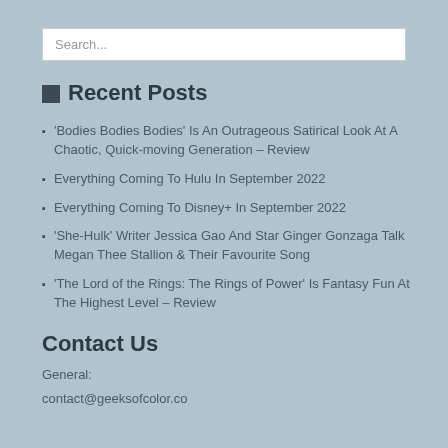Search...
Recent Posts
'Bodies Bodies Bodies' Is An Outrageous Satirical Look At A Chaotic, Quick-moving Generation – Review
Everything Coming To Hulu In September 2022
Everything Coming To Disney+ In September 2022
'She-Hulk' Writer Jessica Gao And Star Ginger Gonzaga Talk Megan Thee Stallion & Their Favourite Song
'The Lord of the Rings: The Rings of Power' Is Fantasy Fun At The Highest Level – Review
Contact Us
General:
contact@geeksofcolor.co